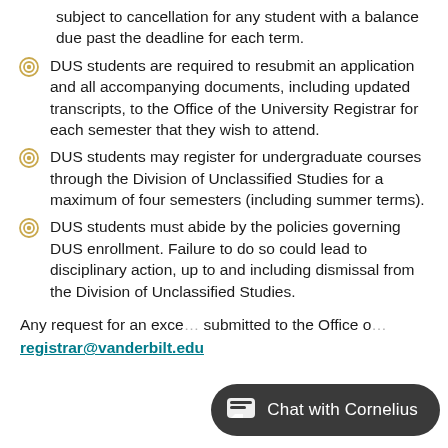subject to cancellation for any student with a balance due past the deadline for each term.
DUS students are required to resubmit an application and all accompanying documents, including updated transcripts, to the Office of the University Registrar for each semester that they wish to attend.
DUS students may register for undergraduate courses through the Division of Unclassified Studies for a maximum of four semesters (including summer terms).
DUS students must abide by the policies governing DUS enrollment. Failure to do so could lead to disciplinary action, up to and including dismissal from the Division of Unclassified Studies.
Any request for an exce... submitted to the Office o...
registrar@vanderbilt.edu